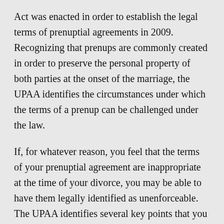Act was enacted in order to establish the legal terms of prenuptial agreements in 2009. Recognizing that prenups are commonly created in order to preserve the personal property of both parties at the onset of the marriage, the UPAA identifies the circumstances under which the terms of a prenup can be challenged under the law.
If, for whatever reason, you feel that the terms of your prenuptial agreement are inappropriate at the time of your divorce, you may be able to have them legally identified as unenforceable. The UPAA identifies several key points that you can use to illustrate that your prenup should not be considered legally binding. For instance, you may be able to prove that you are entitled to spousal support in